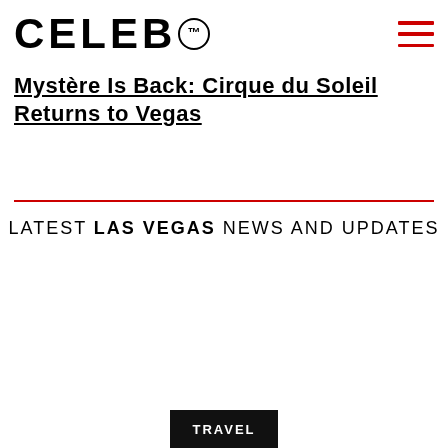CELEB™
Mystère Is Back: Cirque du Soleil Returns to Vegas
LATEST LAS VEGAS NEWS AND UPDATES
TRAVEL